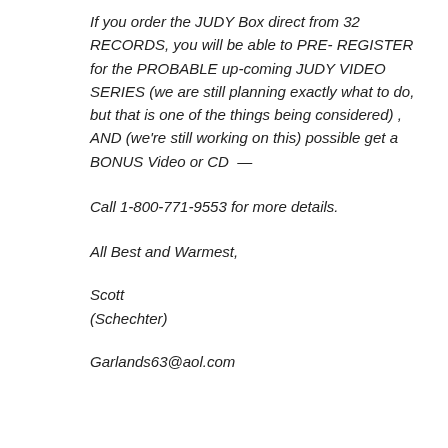If you order the JUDY Box direct from 32 RECORDS, you will be able to PRE- REGISTER for the PROBABLE up-coming JUDY VIDEO SERIES (we are still planning exactly what to do, but that is one of the things being considered) , AND (we're still working on this) possible get a BONUS Video or CD —
Call 1-800-771-9553 for more details.
All Best and Warmest,
Scott
(Schechter)
Garlands63@aol.com